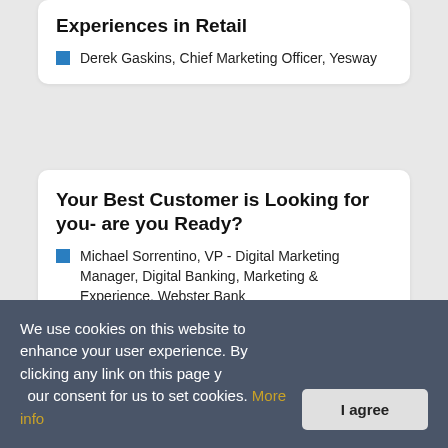Experiences in Retail
Derek Gaskins, Chief Marketing Officer, Yesway
Your Best Customer is Looking for you- are you Ready?
Michael Sorrentino, VP - Digital Marketing Manager, Digital Banking, Marketing & Experience, Webster Bank
The Challenges of Today's Real Estate Crms
Federico Masias, SVP of Technology, Baird & Warner
We use cookies on this website to enhance your user experience. By clicking any link on this page you give your consent for us to set cookies. More info